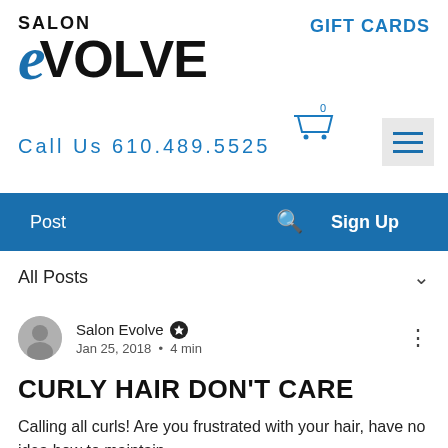[Figure (logo): Salon Evolve logo with stylized blue italic e and black VOLVE text]
GIFT CARDS
[Figure (other): Shopping cart icon with 0]
[Figure (other): Hamburger menu icon (three horizontal lines)]
Call Us 610.489.5525
Post   🔍   Sign Up
All Posts
Salon Evolve • Jan 25, 2018 • 4 min
CURLY HAIR DON'T CARE
Calling all curls! Are you frustrated with your hair, have no idea how to maintain